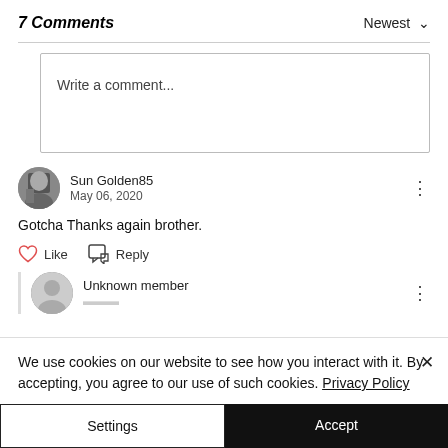7 Comments
Newest
[Figure (other): Write a comment input box placeholder]
Sun Golden85
May 06, 2020
Gotcha Thanks again brother.
Like   Reply
Unknown member
We use cookies on our website to see how you interact with it. By accepting, you agree to our use of such cookies. Privacy Policy
Settings
Accept